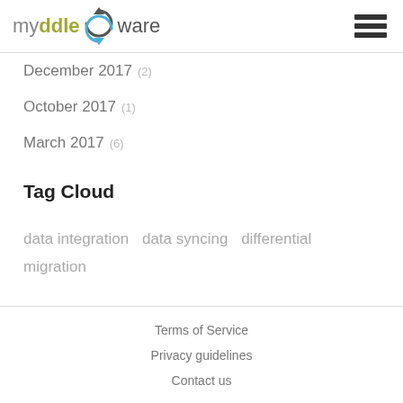mydddleware
December 2017 (2)
October 2017 (1)
March 2017 (6)
Tag Cloud
data integration   data syncing   differential migration
Terms of Service
Privacy guidelines
Contact us